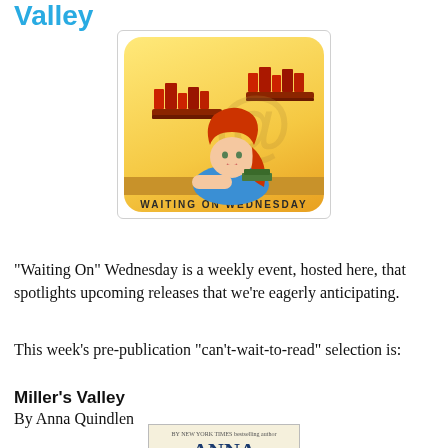Valley
[Figure (illustration): Waiting On Wednesday logo: a cartoon woman with red hair resting her chin on her hand, leaning on a stack of books, surrounded by bookshelves, with text WAITING ON WEDNESDAY below, on a yellow gradient rounded rectangle background inside a light grey bordered box.]
"Waiting On" Wednesday is a weekly event, hosted here, that spotlights upcoming releases that we're eagerly anticipating.
This week's pre-publication "can't-wait-to-read" selection is:
Miller's Valley
By Anna Quindlen
[Figure (illustration): Book cover of Miller's Valley by Anna Quindlen showing the author name ANNA QUINDLEN on a light cream/tan background.]